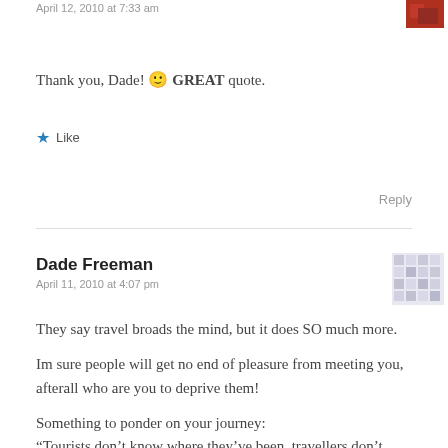April 12, 2010 at 7:33 am
Thank you, Dade! 🙂 GREAT quote.
★ Like
Reply
Dade Freeman
April 11, 2010 at 4:07 pm
They say travel broads the mind, but it does SO much more.
Im sure people will get no end of pleasure from meeting you, afterall who are you to deprive them!
Something to ponder on your journey:
“Tourists don’t know where they’ve been, travellers don’t know